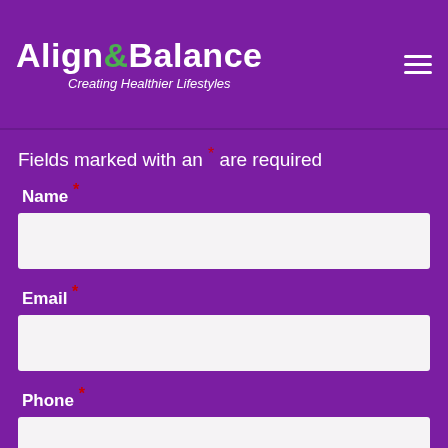Align&Balance — Creating Healthier Lifestyles
Fields marked with an * are required
Name *
[Figure (screenshot): Empty text input field for Name]
Email *
[Figure (screenshot): Empty text input field for Email]
Phone *
[Figure (screenshot): Partially visible empty text input field for Phone]